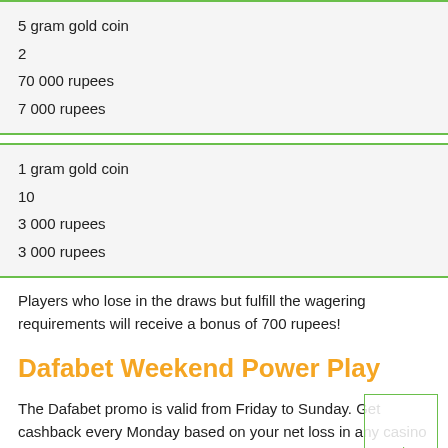| 5 gram gold coin |
| 2 |
| 70 000 rupees |
| 7 000 rupees |
| 1 gram gold coin |
| 10 |
| 3 000 rupees |
| 3 000 rupees |
Players who lose in the draws but fulfill the wagering requirements will receive a bonus of 700 rupees!
Dafabet Weekend Power Play
The Dafabet promo is valid from Friday to Sunday. Get cashback every Monday based on your net loss in any casino games!